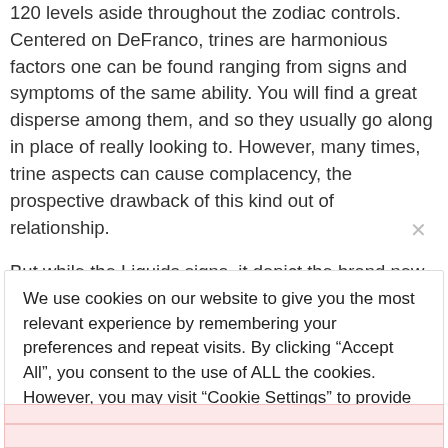120 levels aside throughout the zodiac controls. Centered on DeFranco, trines are harmonious factors one can be found ranging from signs and symptoms of the same ability. You will find a great disperse among them, and so they usually go along in place of really looking to. However, many times, trine aspects can cause complacency, the prospective drawback of this kind out of relationship.
But while the Liquids signs, it depict the brand new emotional and you may easy to use event in life.
We use cookies on our website to give you the most relevant experience by remembering your preferences and repeat visits. By clicking “Accept All”, you consent to the use of ALL the cookies. However, you may visit "Cookie Settings" to provide a controlled consent.